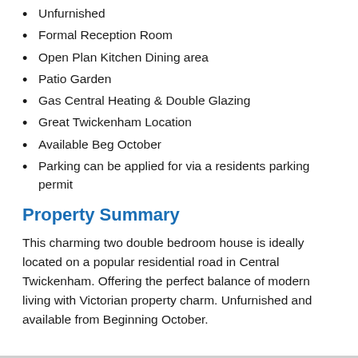Unfurnished
Formal Reception Room
Open Plan Kitchen Dining area
Patio Garden
Gas Central Heating & Double Glazing
Great Twickenham Location
Available Beg October
Parking can be applied for via a residents parking permit
Property Summary
This charming two double bedroom house is ideally located on a popular residential road in Central Twickenham. Offering the perfect balance of modern living with Victorian property charm. Unfurnished and available from Beginning October.